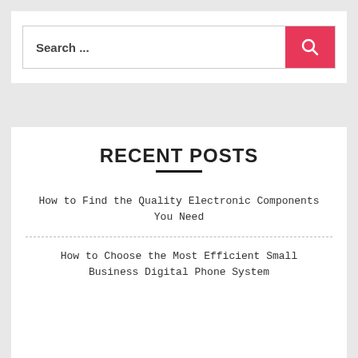[Figure (screenshot): Search box widget with placeholder text 'Search ...' and a red/pink search button with magnifying glass icon]
RECENT POSTS
How to Find the Quality Electronic Components You Need
How to Choose the Most Efficient Small Business Digital Phone System